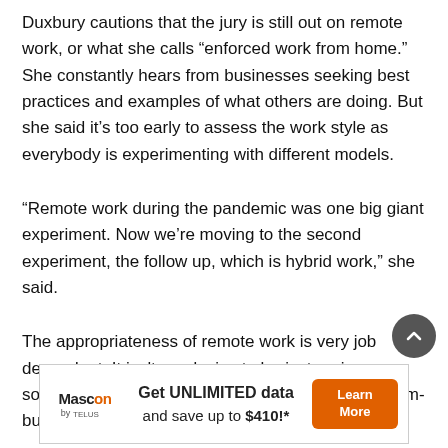Duxbury cautions that the jury is still out on remote work, or what she calls “enforced work from home.” She constantly hears from businesses seeking best practices and examples of what others are doing. But she said it’s too early to assess the work style as everybody is experimenting with different models.
“Remote work during the pandemic was one big giant experiment. Now we’re moving to the second experiment, the follow up, which is hybrid work,” she said.
The appropriateness of remote work is very job dependent. It isn't conducive to brainstorming, socialization, coaching, mentoring, onboarding, team-building and client satisfaction.
[Figure (infographic): Advertisement for Mascon by TELUS: Get UNLIMITED data and save up to $410!* with a Learn More button]